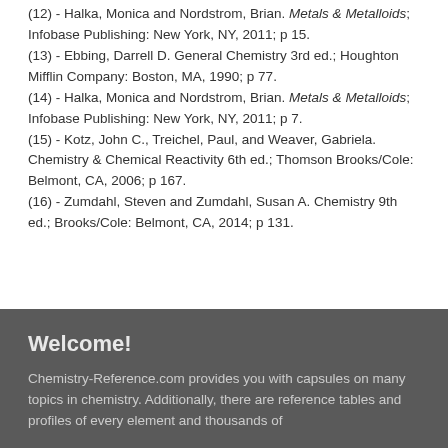(12) - Halka, Monica and Nordstrom, Brian. Metals & Metalloids; Infobase Publishing: New York, NY, 2011; p 15.
(13) - Ebbing, Darrell D. General Chemistry 3rd ed.; Houghton Mifflin Company: Boston, MA, 1990; p 77.
(14) - Halka, Monica and Nordstrom, Brian. Metals & Metalloids; Infobase Publishing: New York, NY, 2011; p 7.
(15) - Kotz, John C., Treichel, Paul, and Weaver, Gabriela. Chemistry & Chemical Reactivity 6th ed.; Thomson Brooks/Cole: Belmont, CA, 2006; p 167.
(16) - Zumdahl, Steven and Zumdahl, Susan A. Chemistry 9th ed.; Brooks/Cole: Belmont, CA, 2014; p 131.
Welcome!
Chemistry-Reference.com provides you with capsules on many topics in chemistry. Additionally, there are reference tables and profiles of every element and thousands of